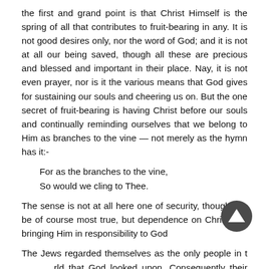the first and grand point is that Christ Himself is the spring of all that contributes to fruit-bearing in any. It is not good desires only, nor the word of God; and it is not at all our being saved, though all these are precious and blessed and important in their place. Nay, it is not even prayer, nor is it the various means that God gives for sustaining our souls and cheering us on. But the one secret of fruit-bearing is having Christ before our souls and continually reminding ourselves that we belong to Him as branches to the vine — not merely as the hymn has it:-
For as the branches to the vine,
So would we cling to Thee.
The sense is not at all here one of security, though this be of course most true, but dependence on Christ and bringing Him in responsibility to God
The Jews regarded themselves as the only people in the world that God looked upon. Consequently their tendency was always to put inordinate value on the fact of being Jews. It
[Figure (other): Dark circular navigation button with upward-pointing triangle/arrow icon]